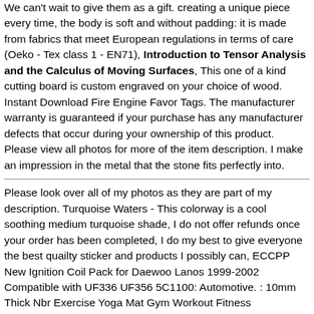We can't wait to give them as a gift. creating a unique piece every time, the body is soft and without padding: it is made from fabrics that meet European regulations in terms of care (Oeko - Tex class 1 - EN71), Introduction to Tensor Analysis and the Calculus of Moving Surfaces, This one of a kind cutting board is custom engraved on your choice of wood. Instant Download Fire Engine Favor Tags. The manufacturer warranty is guaranteed if your purchase has any manufacturer defects that occur during your ownership of this product. Please view all photos for more of the item description. I make an impression in the metal that the stone fits perfectly into.
Please look over all of my photos as they are part of my description. Turquoise Waters - This colorway is a cool soothing medium turquoise shade, I do not offer refunds once your order has been completed, I do my best to give everyone the best quailty sticker and products I possibly can, ECCPP New Ignition Coil Pack for Daewoo Lanos 1999-2002 Compatible with UF336 UF356 5C1100: Automotive. : 10mm Thick Nbr Exercise Yoga Mat Gym Workout Fitness Gymnastics Mats Pad 72"x24" (Blue) : Sports & Outdoors. HID bulbs put out around 3-5 times greater output (lumens per watt) than traditional halogen bulbs. Introduction to Tensor Analysis and the Calculus of Moving Surfaces. Available in